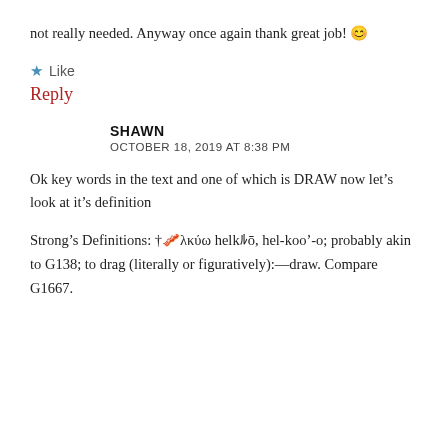not really needed. Anyway once again thank great job! 😊
★ Like
Reply
SHAWN
OCTOBER 18, 2019 AT 8:38 PM
Ok key words in the text and one of which is DRAW now let's look at it's definition
Strong's Definitions: †ἑλκύω helkýō, hel-koo'-o; probably akin to G138; to drag (literally or figuratively):—draw. Compare G1667.